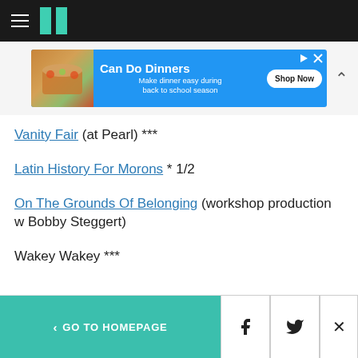HuffPost navigation
[Figure (screenshot): Advertisement banner: Can Do Dinners - Make dinner easy during back to school season. Shop Now button. Blue background with food image.]
Vanity Fair (at Pearl) ***
Latin History For Morons * 1/2
On The Grounds Of Belonging (workshop production w Bobby Steggert)
Wakey Wakey ***
< GO TO HOMEPAGE  [Facebook] [Twitter] [X]